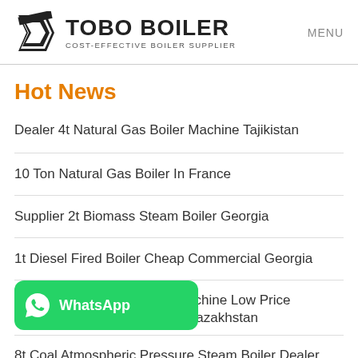TOBO BOILER COST-EFFECTIVE BOILER SUPPLIER | MENU
Hot News
Dealer 4t Natural Gas Boiler Machine Tajikistan
10 Ton Natural Gas Boiler In France
Supplier 2t Biomass Steam Boiler Georgia
1t Diesel Fired Boiler Cheap Commercial Georgia
achine Low Price Kazakhstan
8t Coal Atmospheric Pressure Steam Boiler Dealer Ukraine